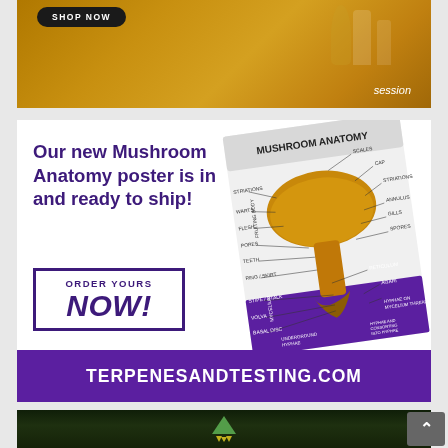[Figure (photo): Top portion of a laboratory or shop scene with warm golden/amber tones, showing equipment on a shelf. Contains a black 'SHOP NOW' button in top left and 'session' text in lower right.]
[Figure (infographic): Advertisement for Terpenes and Testing Mushroom Anatomy poster. White background with purple headline text reading 'Our new Mushroom Anatomy poster is in and ready to ship!', an 'ORDER YOURS NOW!' call-to-action box with purple border, a Mushroom Anatomy poster image showing labeled mushroom diagram, and a purple footer bar reading 'TERPENESANDTESTING.COM'.]
[Figure (photo): Bottom photo showing dark green blurred plant leaves with a small triangular green/yellow logo in the center.]